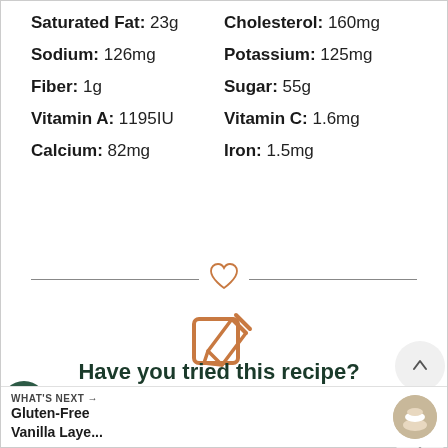Saturated Fat: 23g   Cholesterol: 160mg
Sodium: 126mg   Potassium: 125mg
Fiber: 1g   Sugar: 55g
Vitamin A: 1195IU   Vitamin C: 1.6mg
Calcium: 82mg   Iron: 1.5mg
[Figure (illustration): Edit/pencil icon in orange/brown color]
Have you tried this recipe?
Head to the comment section and let me know what you think!
WHAT'S NEXT → Gluten-Free Vanilla Laye...